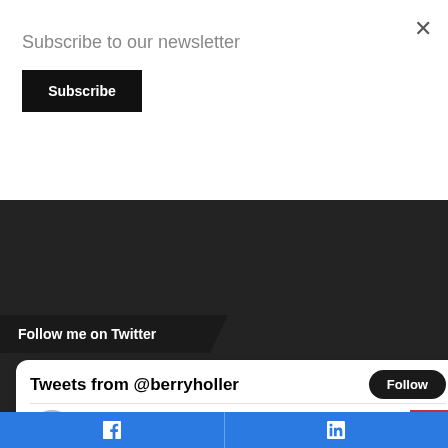Subscribe to our newsletter
Subscribe
[Figure (photo): Dark background with a profile photo strip showing email address dawnshelton@lutherregister.news on a light banner, with a pink/mauve box overlay]
Follow me on Twitter
Tweets from @berryholler
Follow
Dawn Shelton @berryholler · Aug 22
Together. Doesn't happen near enough but so good when it does. These are my people. And my ❤. @ The Chicken Shack